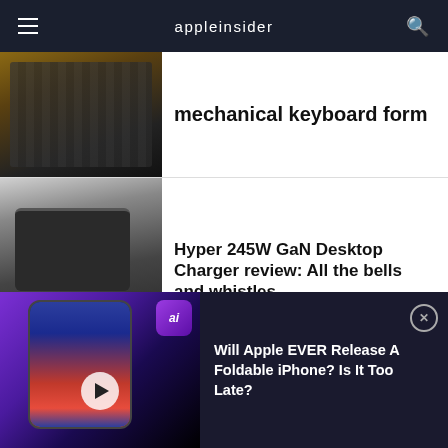appleinsider
[Figure (photo): Mechanical keyboard on a desk surface, partial view]
mechanical keyboard form
[Figure (photo): Hyper 245W GaN Desktop Charger with cables plugged in]
Hyper 245W GaN Desktop Charger review: All the bells and whistles
[Figure (photo): Eve Aqua 3rd-gen smart water controller mounted on outdoor spigot]
Eve Aqua (3rd-gen) review: Upgrades all around for this Thread-enabled
[Figure (screenshot): Video ad thumbnail showing foldable iPhone concept on purple background with ai badge]
Will Apple EVER Release A Foldable iPhone? Is It Too Late?